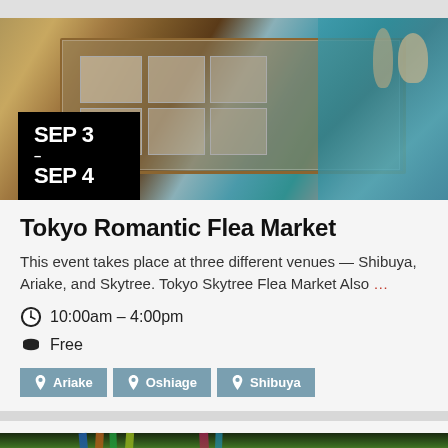[Figure (photo): Flea market display with wooden glass-top display case showing vintage cards and collectibles. Teal/turquoise table with decorative items visible in background. Date badge overlay reads SEP 3 - SEP 4.]
Tokyo Romantic Flea Market
This event takes place at three different venues — Shibuya, Ariake, and Skytree. Tokyo Skytree Flea Market Also ...
10:00am – 4:00pm
Free
Ariake   Oshiage   Shibuya
[Figure (photo): Partial photo of colorful plants or feathers, multi-colored in blue, green, orange tones — bottom of page, cropped.]